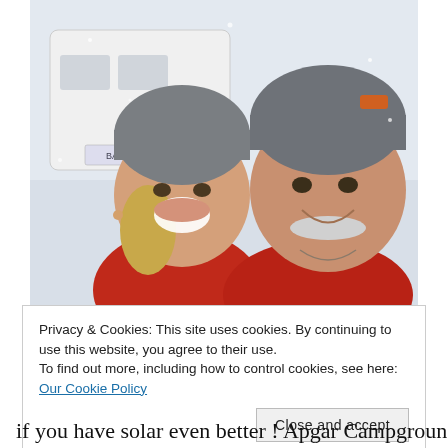[Figure (photo): A couple smiling together outdoors in snowy conditions. The woman on the left wears a gray knit hat and red fleece jacket; the man on the right wears a gray and orange knit hat and red shirt. A white vehicle is visible in the background.]
Privacy & Cookies: This site uses cookies. By continuing to use this website, you agree to their use.
To find out more, including how to control cookies, see here: Our Cookie Policy
Close and accept
if you have solar even better ! Apgar Campground in